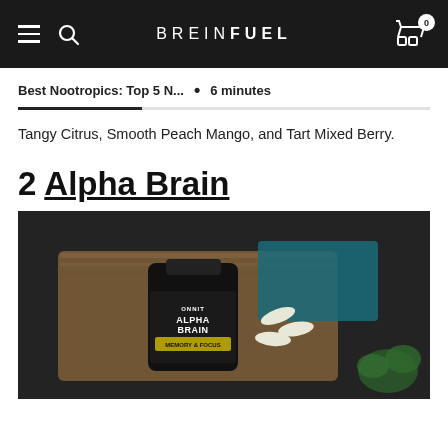BREINFUEL — navigation bar with hamburger menu, search icon, logo, and cart (0 items)
Best Nootropics: Top 5 N...  •  6 minutes
Tangy Citrus, Smooth Peach Mango, and Tart Mixed Berry.
2 Alpha Brain
[Figure (photo): Photo of Onnit Alpha Brain Memory & Focus supplement bottle on a wooden cutting board, with capsules beside it and green herbs/plants in the corner. Dark background.]